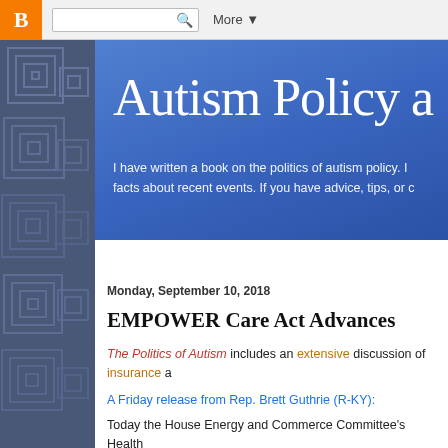B | [search] Q  More ▼
[Figure (screenshot): Blogger top navigation bar with orange B icon, search box, and More dropdown]
Autism Policy a
I have written a book on the politics of autism policy. I facts about recent events. If you have advice, tips, or c
Monday, September 10, 2018
EMPOWER Care Act Advances
The Politics of Autism includes an extensive discussion of insurance a
A Friday release from Rep. Brett Guthrie (R-KY):
Today the House Energy and Commerce Committee's Health